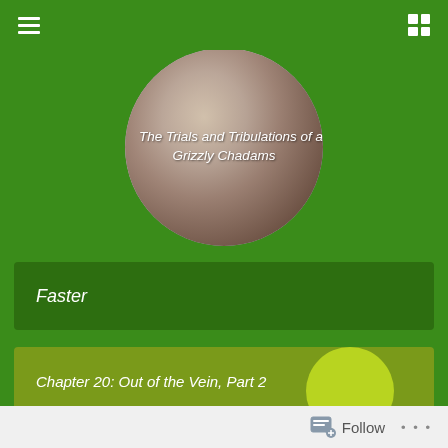Navigation menu icon and grid icon
[Figure (photo): Circular profile photo of a person wearing a white hat, with text overlay reading 'The Trials and Tribulations of a Grizzly Chadams']
The Trials and Tribulations of a Grizzly Chadams
Faster
Chapter 20: Out of the Vein, Part 2
Follow • • •